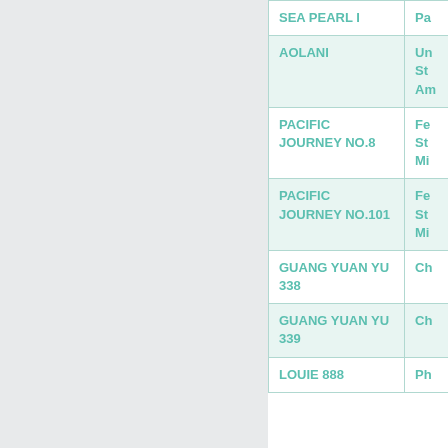| Vessel Name | Details |
| --- | --- |
| SEA PEARL I | Pa |
| AOLANI | Un
St
Am |
| PACIFIC JOURNEY NO.8 | Fe
St
Mi |
| PACIFIC JOURNEY NO.101 | Fe
St
Mi |
| GUANG YUAN YU 338 | Ch |
| GUANG YUAN YU 339 | Ch |
| LOUIE 888 | Ph |